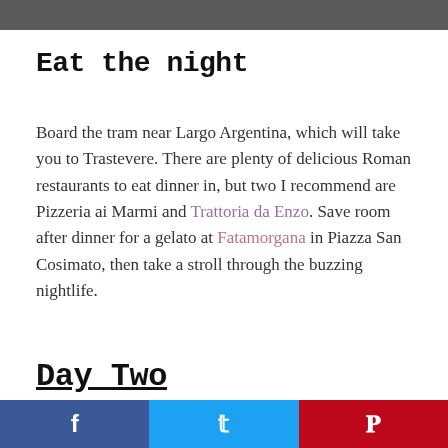[Figure (photo): Partial photo strip at top of page, dark/grey tones, cropped]
Eat the night
Board the tram near Largo Argentina, which will take you to Trastevere. There are plenty of delicious Roman restaurants to eat dinner in, but two I recommend are Pizzeria ai Marmi and Trattoria da Enzo. Save room after dinner for a gelato at Fatamorgana in Piazza San Cosimato, then take a stroll through the buzzing nightlife.
Day Two
f  [twitter bird]  P